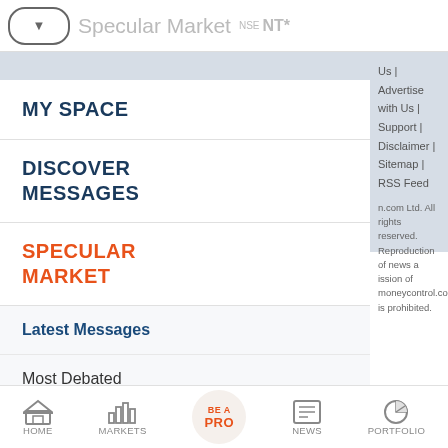Specular Market NSE NT*
Us | Advertise with Us | Support | Disclaimer | Sitemap | RSS Feed
n.com Ltd. All rights reserved. Reproduction of news a...ission of moneycontrol.com is prohibited.
MY SPACE
DISCOVER MESSAGES
SPECULAR MARKET
Latest Messages
Most Debated
Top Boarder Messages
HOME  MARKETS  BE A PRO  NEWS  PORTFOLIO